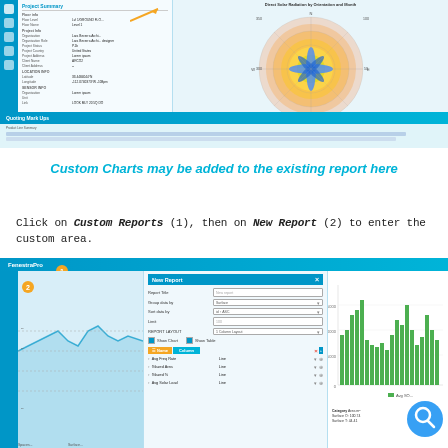[Figure (screenshot): Screenshot of FenestraPro software showing Project Summary panel on the left with project info fields, and a Direct Solar Radiation by Orientation and Month radar/polar chart on the right with colorful concentric rings and cross pattern, plus a Quoting Mark Ups table at the bottom]
Custom Charts may be added to the existing report here
Click on Custom Reports (1), then on New Report (2) to enter the custom area.
[Figure (screenshot): Screenshot of FenestraPro application with New Report dialog open, showing Report Title, Group data by, Sort data by, Limit, and Report Layout fields, Show Chart and Show Table checkboxes, rows configuration with Name and Column headers, data rows (Avg Freq Rate, Glazed Area, Glazed %, Avg Solar Load), a bar chart with green bars visible on the right side, and a data table showing Category, Area m², Surface G, Surface T values. Orange numbered badges 1 and 2 and a blue search magnifier icon are visible.]